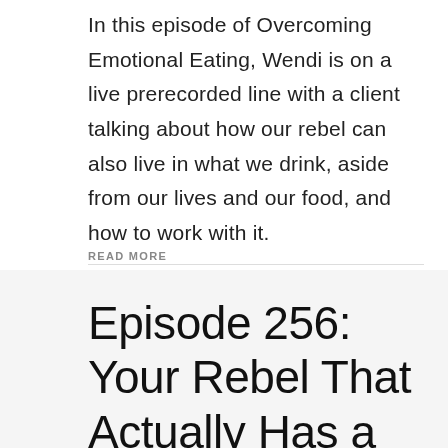In this episode of Overcoming Emotional Eating, Wendi is on a live prerecorded line with a client talking about how our rebel can also live in what we drink, aside from our lives and our food, and how to work with it.
READ MORE
Episode 256: Your Rebel That Actually Has a